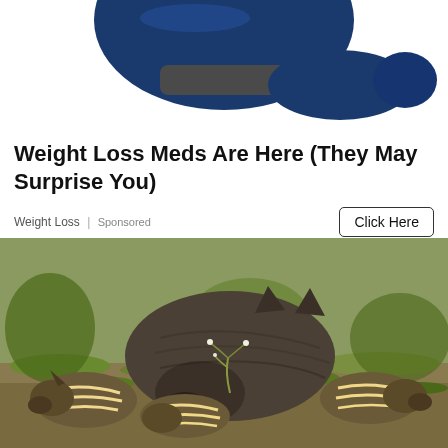[Figure (photo): Top portion of a blue/dark handheld device product image, cropped at the top of the page]
Weight Loss Meds Are Here (They May Surprise You)
Weight Loss | Sponsored
[Figure (photo): A large adult javelina/peccary with several striped young piglets foraging on green grass and dirt ground]